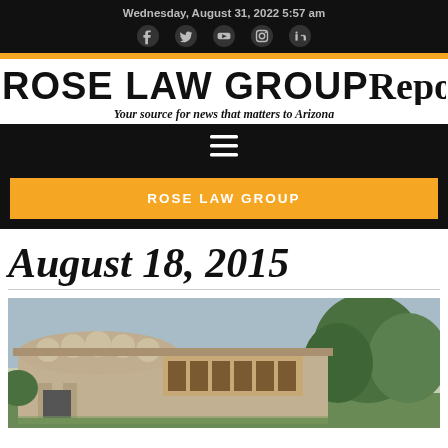Wednesday, August 31, 2022 5:57 am
ROSE LAW GROUP Reporter
Your source for news that matters to Arizona
ROSE LAW GROUP
August 18, 2015
[Figure (photo): Exterior photograph of a Frank Lloyd Wright style building with curved stone walls, multiple columns, and surrounding trees and greenery]